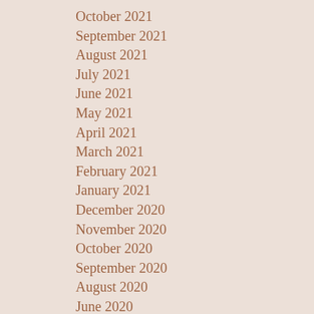October 2021
September 2021
August 2021
July 2021
June 2021
May 2021
April 2021
March 2021
February 2021
January 2021
December 2020
November 2020
October 2020
September 2020
August 2020
June 2020
May 2020
April 2020
March 2020
February 2020